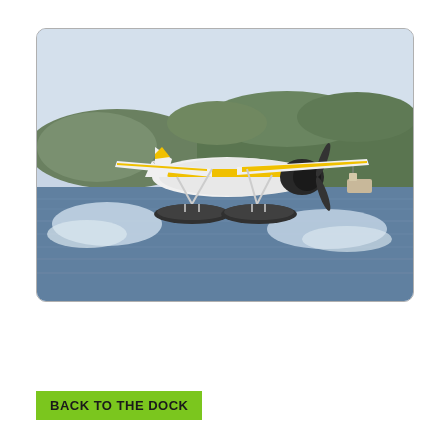[Figure (photo): A yellow and white floatplane (seaplane) taking off or landing on a body of water. The plane has pontoon floats and is kicking up water spray on both sides. In the background are forested hills and another small boat on the right side. The sky is light blue and hazy.]
BACK TO THE DOCK